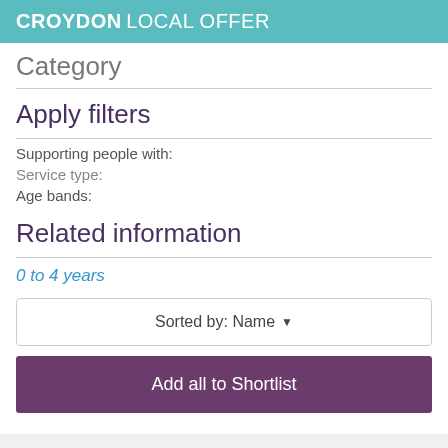CROYDON LOCAL OFFER
Category
Apply filters
Supporting people with:
Service type:
Age bands:
Related information
0 to 4 years
Sorted by: Name
Add all to Shortlist